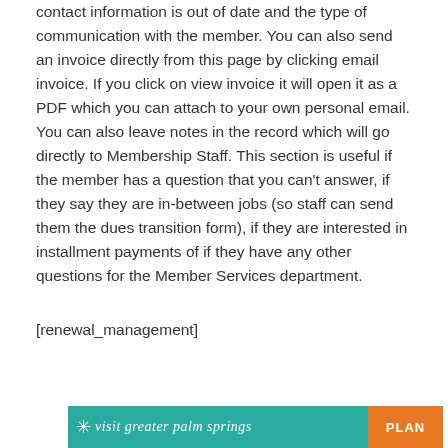contact information is out of date and the type of communication with the member. You can also send an invoice directly from this page by clicking email invoice. If you click on view invoice it will open it as a PDF which you can attach to your own personal email. You can also leave notes in the record which will go directly to Membership Staff. This section is useful if the member has a question that you can't answer, if they say they are in-between jobs (so staff can send them the dues transition form), if they are interested in installment payments of if they have any other questions for the Member Services department.
[renewal_management]
[Figure (logo): Visit Greater Palm Springs logo banner with teal background on left and orange 'PLAN' button on right]